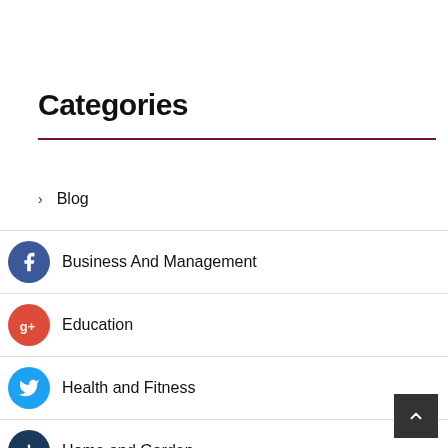Categories
Blog
Business And Management
Education
Health and Fitness
Home and Garden
Legal
Marketing and Advertising